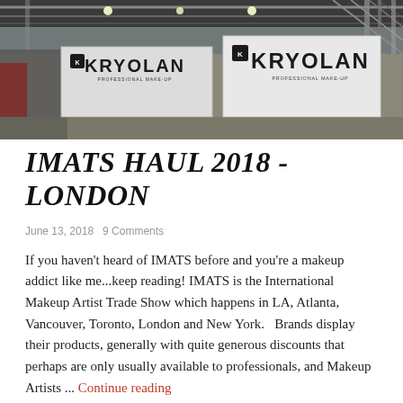[Figure (photo): Photo of a trade show floor with KRYOLAN branded booths and metal scaffolding/truss structure overhead. Two large KRYOLAN signs visible on white booths.]
IMATS HAUL 2018 - LONDON
June 13, 2018   9 Comments
If you haven't heard of IMATS before and you're a makeup addict like me...keep reading! IMATS is the International Makeup Artist Trade Show which happens in LA, Atlanta, Vancouver, Toronto, London and New York.   Brands display their products, generally with quite generous discounts that perhaps are only usually available to professionals, and Makeup Artists ... Continue reading